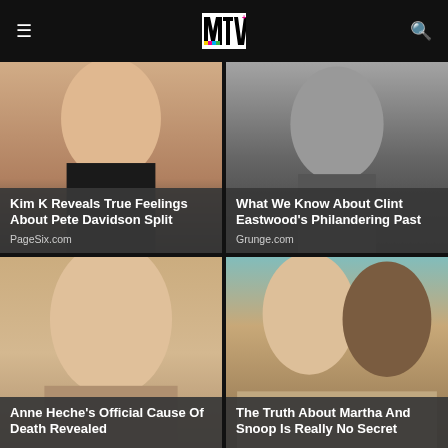MTV
[Figure (photo): Photo of Kim Kardashian]
Kim K Reveals True Feelings About Pete Davidson Split
PageSix.com
[Figure (photo): Black and white photo of Clint Eastwood]
What We Know About Clint Eastwood's Philandering Past
Grunge.com
[Figure (photo): Photo of Anne Heche]
Anne Heche's Official Cause Of Death Revealed
[Figure (photo): Photo of Martha Stewart and Snoop Dogg]
The Truth About Martha And Snoop Is Really No Secret